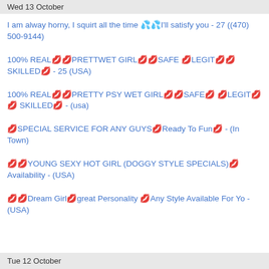Wed 13 October
I am alway horny, I squirt all the time 💦💦I'll satisfy you - 27 ((470) 500-9144)
100% REAL💋💋PRETTWET GIRL💋💋SAFE 💋LEGIT💋💋 SKILLED💋 - 25 (USA)
100% REAL💋💋PRETTY PSY WET GIRL💋💋SAFE💋 💋LEGIT💋💋 SKILLED💋 - (usa)
💋SPECIAL SERVICE FOR ANY GUYS💋Ready To Fun💋 - (In Town)
💋💋YOUNG SEXY HOT GIRL (DOGGY STYLE SPECIALS)💋 Availability - (USA)
💋💋Dream Girl💋great Personality 💋Any Style Available For Yo - (USA)
Tue 12 October